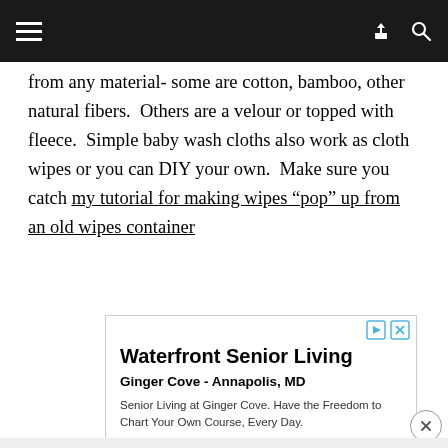[Navigation bar with hamburger menu, share icon, and search icon]
from any material- some are cotton, bamboo, other natural fibers.  Others are a velour or topped with fleece.  Simple baby wash cloths also work as cloth wipes or you can DIY your own.  Make sure you catch my tutorial for making wipes "pop" up from an old wipes container
[Figure (other): Advertisement for Waterfront Senior Living - Ginger Cove, Annapolis, MD. Text: 'Senior Living at Ginger Cove. Have the Freedom to Chart Your Own Course, Every Day.' URL: gingercove.com]